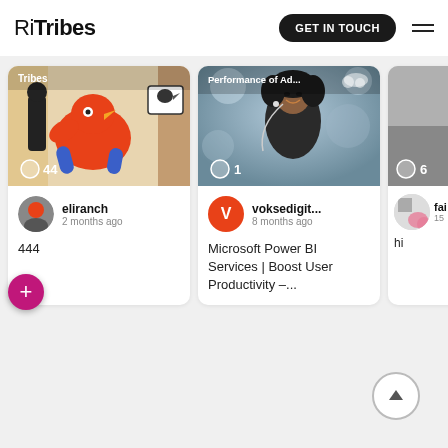RiTribes | GET IN TOUCH
[Figure (screenshot): Card 1: Colorful illustration art post by eliranch, 2 months ago, 44 comments, title 444]
[Figure (screenshot): Card 2: Photo of woman with earphones, Performance of Ad... post by voksedigit..., 8 months ago, 1 comment, Microsoft Power BI Services | Boost User Productivity –...]
[Figure (screenshot): Card 3: Partial card with grey image, fai..., 15, hi]